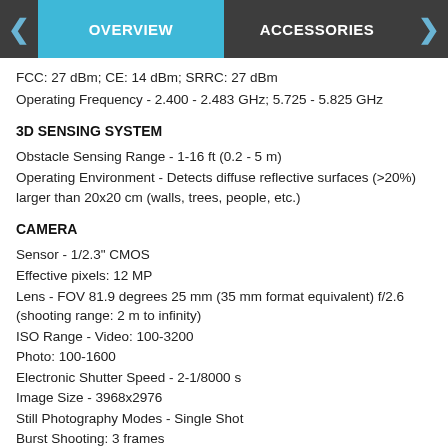OVERVIEW | ACCESSORIES
FCC: 27 dBm; CE: 14 dBm; SRRC: 27 dBm
Operating Frequency - 2.400 - 2.483 GHz; 5.725 - 5.825 GHz
3D SENSING SYSTEM
Obstacle Sensing Range - 1-16 ft (0.2 - 5 m)
Operating Environment - Detects diffuse reflective surfaces (>20%) larger than 20x20 cm (walls, trees, people, etc.)
CAMERA
Sensor - 1/2.3" CMOS
Effective pixels: 12 MP
Lens - FOV 81.9 degrees 25 mm (35 mm format equivalent) f/2.6 (shooting range: 2 m to infinity)
ISO Range - Video: 100-3200
Photo: 100-1600
Electronic Shutter Speed - 2-1/8000 s
Image Size - 3968x2976
Still Photography Modes - Single Shot
Burst Shooting: 3 frames
Auto Exposure Bracketing (AEB): 3 bracketed frames at 0.7 EV bias
Interval: 2/3/5/7/10/15/20/30/60 s